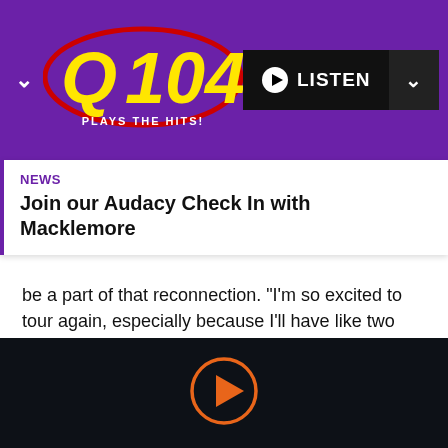[Figure (logo): Q104 radio station logo — yellow Q104 text in red oval, purple background, tagline PLAYS THE HITS!]
NEWS
Join our Audacy Check In with Macklemore
be a part of that reconnection. "I'm so excited to tour again, especially because I'll have like two albums worth of new music," he says, while also promising a ton of past fan favorites. "It's gonna be a nice 'walk through the ages of Lauv,' it's gonna be great."
[Figure (other): Orange play button circle on dark background]